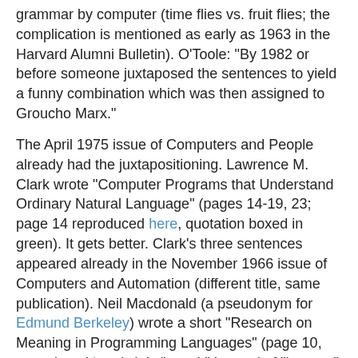grammar by computer (time flies vs. fruit flies; the complication is mentioned as early as 1963 in the Harvard Alumni Bulletin). O'Toole: "By 1982 or before someone juxtaposed the sentences to yield a funny combination which was then assigned to Groucho Marx."
The April 1975 issue of Computers and People already had the juxtapositioning. Lawrence M. Clark wrote "Computer Programs that Understand Ordinary Natural Language" (pages 14-19, 23; page 14 reproduced here, quotation boxed in green). It gets better. Clark's three sentences appeared already in the November 1966 issue of Computers and Automation (different title, same publication). Neil Macdonald (a pseudonym for Edmund Berkeley) wrote a short "Research on Meaning in Programming Languages" (page 10, reproduced here). It is "peach" instead of "banana" but that is not as important as the date.
Hans Havermann at 10:40 AM   No comments:
Share